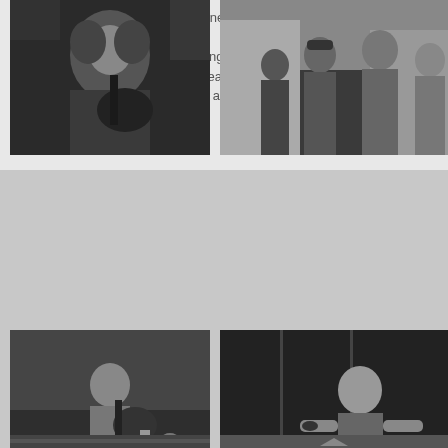[Figure (other): Greatest Hits Order Prints badge/logo in dark red with white text and dashed border]
Mudhoney ended up opening for Pearl Jam m... fun doing this shoot for EW. When I look at th... one. Seattle was on the downside of the BIG g... people and good times. #GoodTimes
[Figure (photo): Black and white photo of a musician with long curly hair playing guitar, indoor setting]
[Figure (photo): Black and white photo of a group of people standing outdoors on a street]
[Figure (photo): Black and white photo of a person sitting on a table playing guitar outdoors]
[Figure (photo): Black and white photo of a woman with a tattoo on her arm, performing or standing near microphone stands]
[Figure (photo): Black and white photo partial view, bottom strip left]
[Figure (photo): Black and white photo partial view with arrow/chevron overlay, bottom strip right]